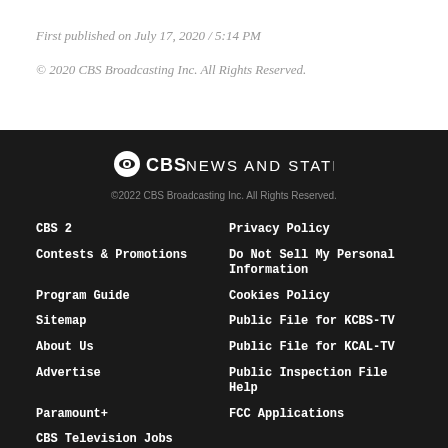First published on July 17, 2020 / 5:14 PM
© 2020 CBS Broadcasting Inc. All Rights Reserved.
[Figure (logo): CBS News and Stations logo with CBS eye icon]
©2022 CBS Broadcasting Inc. All Rights Reserved.
CBS 2
Privacy Policy
Contests & Promotions
Do Not Sell My Personal Information
Program Guide
Cookies Policy
Sitemap
Public File for KCBS-TV
About Us
Public File for KCAL-TV
Advertise
Public Inspection File Help
Paramount+
FCC Applications
CBS Television Jobs